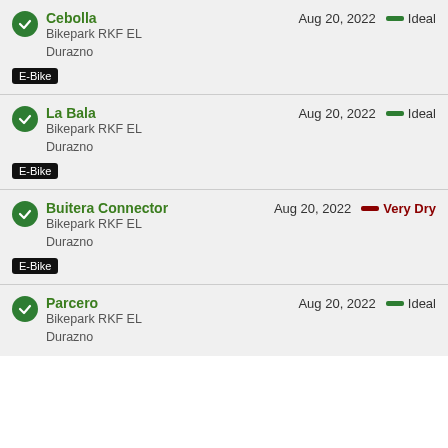Cebolla | Bikepark RKF EL Durazno | Aug 20, 2022 | Ideal | E-Bike
La Bala | Bikepark RKF EL Durazno | Aug 20, 2022 | Ideal | E-Bike
Buitera Connector | Bikepark RKF EL Durazno | Aug 20, 2022 | Very Dry | E-Bike
Parcero | Bikepark RKF EL Durazno | Aug 20, 2022 | Ideal